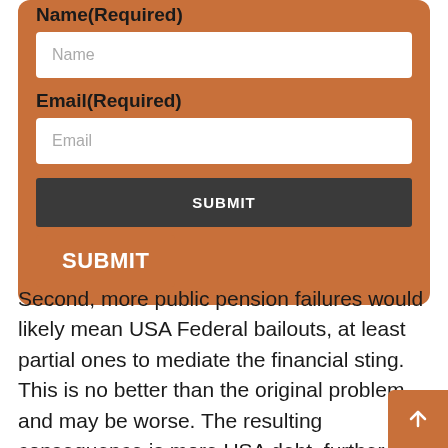Name(Required)
Name
Email(Required)
Email
SUBMIT
SUBMIT
Second, more public pension failures would likely mean USA Federal bailouts, at least partial ones to mediate the financial sting. This is no better than the original problem and may be worse. The resulting consequence is more USA debt, further requiring the already strained USA printing presses to crank out more USDs, which means a further erosion of the currency's value. Ecuador is on a USD economy and any significant further erosion of the USD could lea